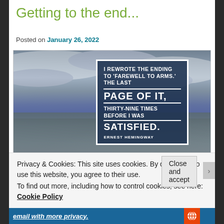Getting to the end...
Posted on January 26, 2022
[Figure (photo): A dramatic coastal rocky landscape with stormy sky. Overlaid is a framed quote card reading: 'I REWROTE THE ENDING TO FAREWELL TO ARMS. THE LAST PAGE OF IT, THIRTY-NINE TIMES BEFORE I WAS SATISFIED. ERNEST HEMINGWAY']
Privacy & Cookies: This site uses cookies. By continuing to use this website, you agree to their use.
To find out more, including how to control cookies, see here: Cookie Policy
Close and accept
email with more privacy.